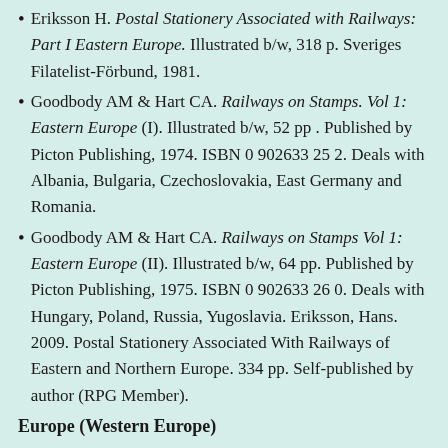Eriksson H. Postal Stationery Associated with Railways: Part I Eastern Europe. Illustrated b/w, 318 p. Sveriges Filatelist-Förbund, 1981.
Goodbody AM & Hart CA. Railways on Stamps. Vol 1: Eastern Europe (I). Illustrated b/w, 52 pp . Published by Picton Publishing, 1974. ISBN 0 902633 25 2. Deals with Albania, Bulgaria, Czechoslovakia, East Germany and Romania.
Goodbody AM & Hart CA. Railways on Stamps Vol 1: Eastern Europe (II). Illustrated b/w, 64 pp. Published by Picton Publishing, 1975. ISBN 0 902633 26 0. Deals with Hungary, Poland, Russia, Yugoslavia. Eriksson, Hans. 2009. Postal Stationery Associated With Railways of Eastern and Northern Europe. 334 pp. Self-published by author (RPG Member).
Europe (Western Europe)